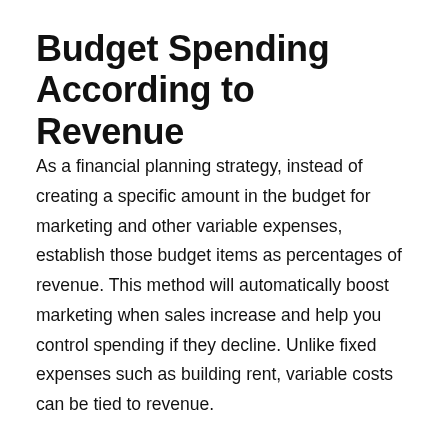Budget Spending According to Revenue
As a financial planning strategy, instead of creating a specific amount in the budget for marketing and other variable expenses, establish those budget items as percentages of revenue. This method will automatically boost marketing when sales increase and help you control spending if they decline. Unlike fixed expenses such as building rent, variable costs can be tied to revenue.
Arrange for Financing